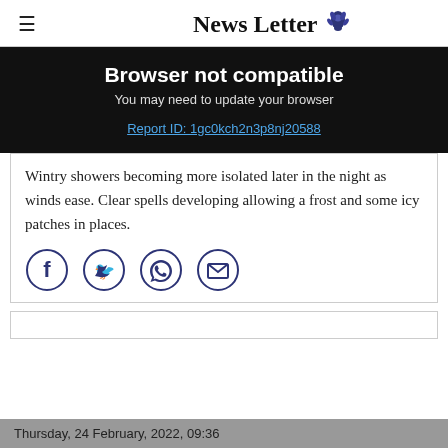News Letter
Browser not compatible
You may need to update your browser
Report ID: 1gc0kch2n3p8nj20588
Wintry showers becoming more isolated later in the night as winds ease. Clear spells developing allowing a frost and some icy patches in places.
[Figure (infographic): Social sharing icons: Facebook, Twitter, WhatsApp, Email - circular dark blue outlined icons]
Thursday, 24 February, 2022, 09:36